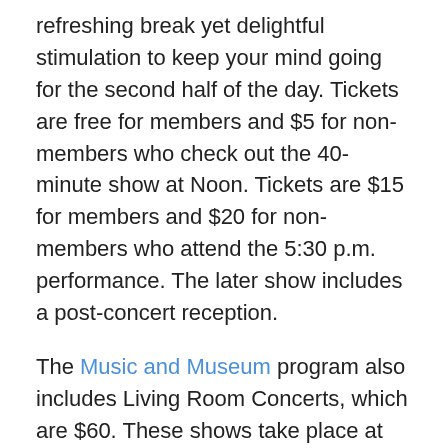refreshing break yet delightful stimulation to keep your mind going for the second half of the day. Tickets are free for members and $5 for non-members who check out the 40-minute show at Noon. Tickets are $15 for members and $20 for non-members who attend the 5:30 p.m. performance. The later show includes a post-concert reception.
The Music and Museum program also includes Living Room Concerts, which are $60. These shows take place at 4:00 p.m. and include a pre-concert cocktail reception and post-concert hors d'oeuvres and desserts. All tickets can be purchased online, over the phone at 704.353.9200, at the visitor's service desk or at the door on the day of the performance.
January 8